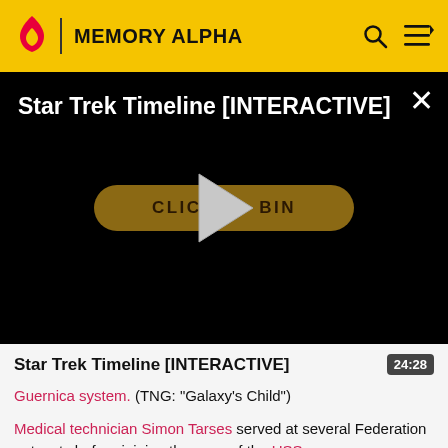Memory Alpha
[Figure (screenshot): Star Trek Timeline [INTERACTIVE] video player with black background, play button triangle overlay, and a golden 'CLICK TO BEGIN' button. A white X close button is in the top right corner.]
Star Trek Timeline [INTERACTIVE]
Guernica system. (TNG: "Galaxy's Child")
Medical technician Simon Tarses served at several Federation outposts before joining the crew of the USS